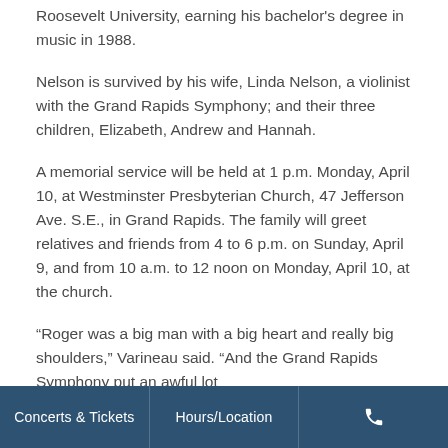Roosevelt University, earning his bachelor's degree in music in 1988.
Nelson is survived by his wife, Linda Nelson, a violinist with the Grand Rapids Symphony; and their three children, Elizabeth, Andrew and Hannah.
A memorial service will be held at 1 p.m. Monday, April 10, at Westminster Presbyterian Church, 47 Jefferson Ave. S.E., in Grand Rapids. The family will greet relatives and friends from 4 to 6 p.m. on Sunday, April 9, and from 10 a.m. to 12 noon on Monday, April 10, at the church.
“Roger was a big man with a big heart and really big shoulders,” Varineau said. “And the Grand Rapids Symphony put an awful lot
Concerts & Tickets | Hours/Location | ☎